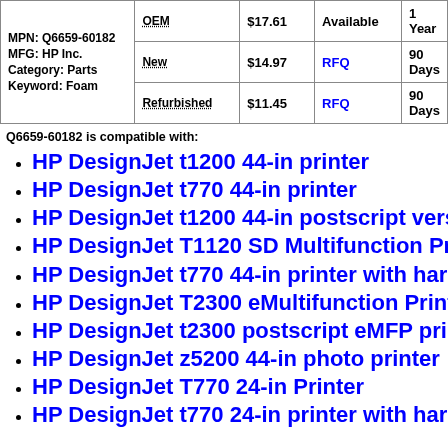| Product Info | Condition | Price | Availability | Warranty |
| --- | --- | --- | --- | --- |
| MPN: Q6659-60182
MFG: HP Inc.
Category: Parts
Keyword: Foam | OEM | $17.61 | Available | 1 Year |
|  | New | $14.97 | RFQ | 90 Days |
|  | Refurbished | $11.45 | RFQ | 90 Days |
Q6659-60182 is compatible with:
HP DesignJet t1200 44-in printer
HP DesignJet t770 44-in printer
HP DesignJet t1200 44-in postscript version printer
HP DesignJet T1120 SD Multifunction Printer
HP DesignJet t770 44-in printer with hard disk
HP DesignJet T2300 eMultifunction Printer
HP DesignJet t2300 postscript eMFP printer
HP DesignJet z5200 44-in photo printer
HP DesignJet T770 24-in Printer
HP DesignJet t770 24-in printer with hard disk